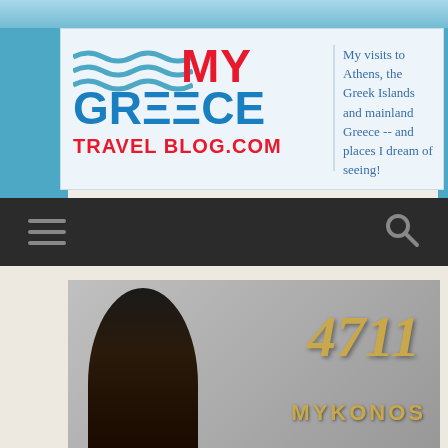[Figure (screenshot): My Greece Travel Blog website screenshot showing logo banner with wavy blue lines, MY GREECE TRAVEL BLOG.COM text, tagline about visiting Athens and Greek Islands, dark navigation bar with hamburger menu and search icon, and a 4711 Mykonos advertisement image at the bottom]
My visits to Athens, the Greek Islands and mainland Greece -- and places I dream of seeing!
[Figure (photo): Advertisement photo showing a dark-haired woman and the text 4711 MYKONOS in gold letters]